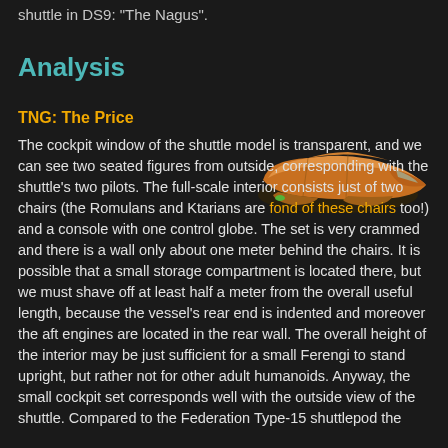shuttle in DS9: "The Nagus".
Analysis
TNG: The Price
[Figure (illustration): 3D render of an orange/tan colored alien shuttle craft viewed from a side-front angle, showing a streamlined hull with engine details]
The cockpit window of the shuttle model is transparent, and we can see two seated figures from outside, corresponding with the shuttle's two pilots. The full-scale interior consists just of two chairs (the Romulans and Ktarians are fond of these chairs too!) and a console with one control globe. The set is very crammed and there is a wall only about one meter behind the chairs. It is possible that a small storage compartment is located there, but we must shave off at least half a meter from the overall useful length, because the vessel's rear end is indented and moreover the aft engines are located in the rear wall. The overall height of the interior may be just sufficient for a small Ferengi to stand upright, but rather not for other adult humanoids. Anyway, the small cockpit set corresponds well with the outside view of the shuttle. Compared to the Federation Type-15 shuttlepod the